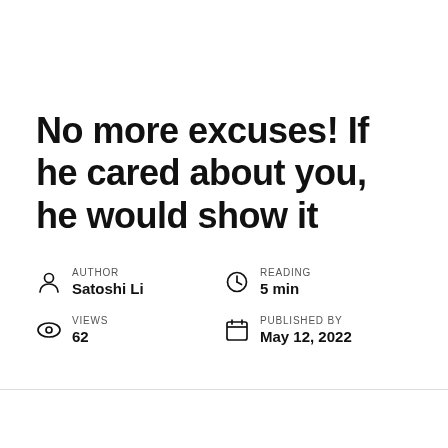No more excuses! If he cared about you, he would show it
AUTHOR
Satoshi Li
READING
5 min
VIEWS
62
PUBLISHED BY
May 12, 2022